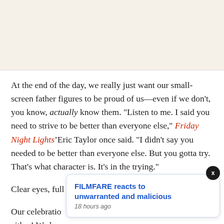At the end of the day, we really just want our small-screen father figures to be proud of us—even if we don't, you know, actually know them. "Listen to me. I said you need to strive to be better than everyone else," Friday Night Lights' Eric Taylor once said. "I didn't say you needed to be better than everyone else. But you gotta try. That's what character is. It's in the trying."
Clear eyes, full hearts, can't lose.
Our celebration... either! We ho... Simpson a dozen of artisan donuts for the big day. Or, at the very least, a pink sprinkle one from Lard
[Figure (other): Popup notification card reading 'FILMFARE reacts to unwarranted and malicious' with timestamp '18 hours ago', with a close button (X) in the top-right corner]